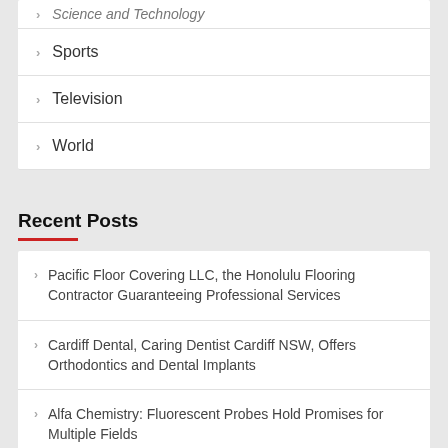Science and Technology
Sports
Television
World
Recent Posts
Pacific Floor Covering LLC, the Honolulu Flooring Contractor Guaranteeing Professional Services
Cardiff Dental, Caring Dentist Cardiff NSW, Offers Orthodontics and Dental Implants
Alfa Chemistry: Fluorescent Probes Hold Promises for Multiple Fields
Mckinney Trailer Rentals is Awarded Certification as a Great Place to Work